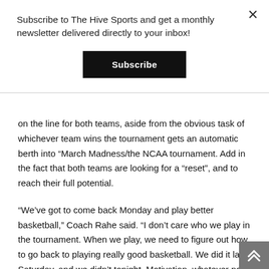Subscribe to The Hive Sports and get a monthly newsletter delivered directly to your inbox!
Subscribe
on the line for both teams, aside from the obvious task of whichever team wins the tournament gets an automatic berth into “March Madness/the NCAA tournament. Add in the fact that both teams are looking for a “reset”, and to reach their full potential.
“We’ve got to come back Monday and play better basketball,” Coach Rahe said. “I don’t care who we play in the tournament. When we play, we need to figure out how to go back to playing really good basketball. We did it last Saturday, and we didn’t tonight. Motivation, whatever no— we need to